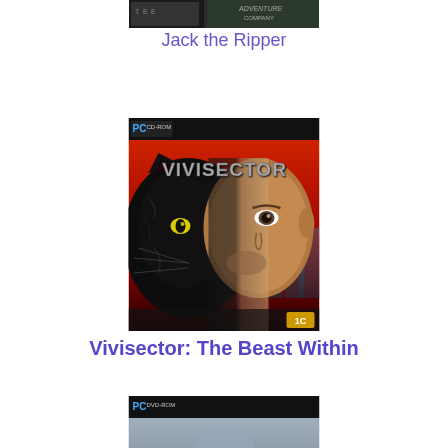[Figure (photo): Partial top of Jack the Ripper PC game box cover, cropped at top]
Jack the Ripper
[Figure (photo): Vivisector: The Beast Within PC CD-ROM game box cover showing a half-panther half-man face composite with city background and 1C logo]
Vivisector: The Beast Within
[Figure (photo): Partial bottom PC DVD-ROM game box cover, cropped, gray/blue tone]